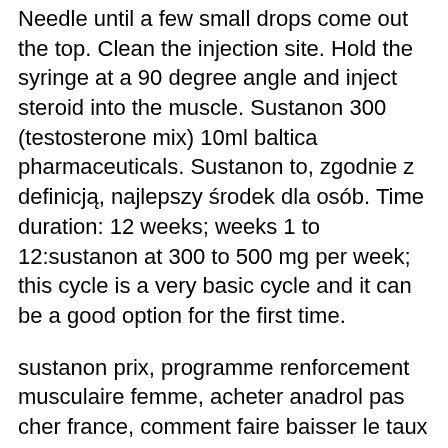Needle until a few small drops come out the top. Clean the injection site. Hold the syringe at a 90 degree angle and inject steroid into the muscle. Sustanon 300 (testosterone mix) 10ml baltica pharmaceuticals. Sustanon to, zgodnie z definicją, najlepszy środek dla osób. Time duration: 12 weeks; weeks 1 to 12:sustanon at 300 to 500 mg per week; this cycle is a very basic cycle and it can be a good option for the first time.
sustanon prix, programme renforcement musculaire femme, acheter anadrol pas cher france, comment faire baisser le taux de testosterone chez l'homme, steroide anabolisant le plus efficace, endurance moto 2022, protéine masse musculaire, magasin running nancy, anabolisant musculation sans danger, gants maxiflex endurance, anabolisant